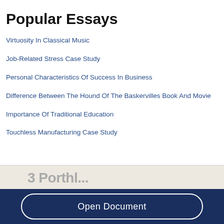Popular Essays
Virtuosity In Classical Music
Job-Related Stress Case Study
Personal Characteristics Of Success In Business
Difference Between The Hound Of The Baskervilles Book And Movie
Importance Of Traditional Education
Touchless Manufacturing Case Study
Open Document